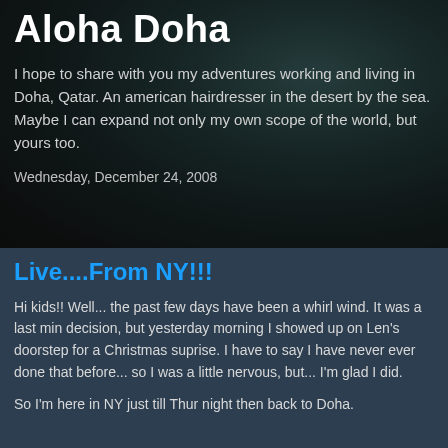Aloha Doha
I hope to share with you my adventures working and living in Doha, Qatar. An american hairdresser in the desert by the sea. Maybe I can expand not only my own scope of the world, but yours too.
Wednesday, December 24, 2008
Live....From NY!!!
Hi kids!! Well... the past few days have been a whirl wind. It was a last min decision, but yesterday morning I showed up on Len's doorstep for a Christmas suprise. I have to say I have never ever done that before... so I was a little nervous, but... I'm glad I did.
So I'm here in NY just till Thur night then back to Doha.